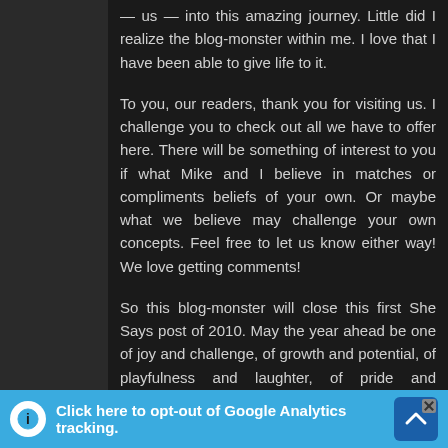— us — into this amazing journey. Little did I realize the blog-monster within me. I love that I have been able to give life to it.
To you, our readers, thank you for visiting us. I challenge you to check out all we have to offer here. There will be something of interest to you if what Mike and I believe in matches or compliments beliefs of your own. Or maybe what we believe may challenge your own concepts. Feel free to let us know either way! We love getting comments!
So this blog-monster will close this first She Says post of 2010. May the year ahead be one of joy and challenge, of growth and potential, of playfulness and laughter, of pride and accomplishment. (Notice I said pride and accomplishment rather than pride
Click here to opt-out of Google Analytics tracking.